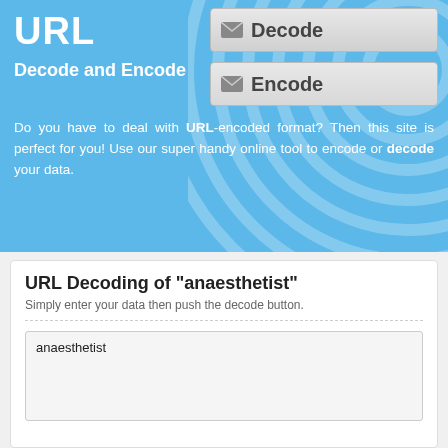URL
Decode and Encode
[Figure (screenshot): Decode button with envelope icon]
[Figure (screenshot): Encode button with envelope icon]
Do you have to deal with URL-encoded format? Then this site is perfect for you! Use our super handy online tool to encode or decode your data.
URL Decoding of "anaesthetist"
Simply enter your data then push the decode button.
anaesthetist